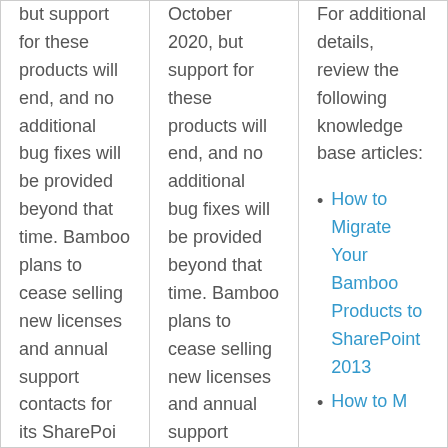| but support for these products will end, and no additional bug fixes will be provided beyond that time. Bamboo plans to cease selling new licenses and annual support contacts for its SharePoint... | October 2020, but support for these products will end, and no additional bug fixes will be provided beyond that time. Bamboo plans to cease selling new licenses and annual support... | For additional details, review the following knowledge base articles:
• How to Migrate Your Bamboo Products to SharePoint 2013
• How to M... |